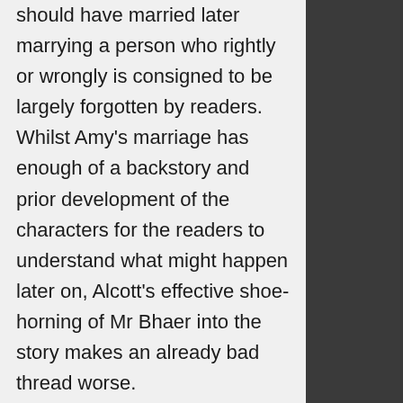should have married later marrying a person who rightly or wrongly is consigned to be largely forgotten by readers. Whilst Amy's marriage has enough of a backstory and prior development of the characters for the readers to understand what might happen later on, Alcott's effective shoe-horning of Mr Bhaer into the story makes an already bad thread worse.
Alcott's effective overturning of what would be the most natural and expected conclusion to the story is surely a further effect – following the inclusion of marriage in itself – of Alcott's not wanting to